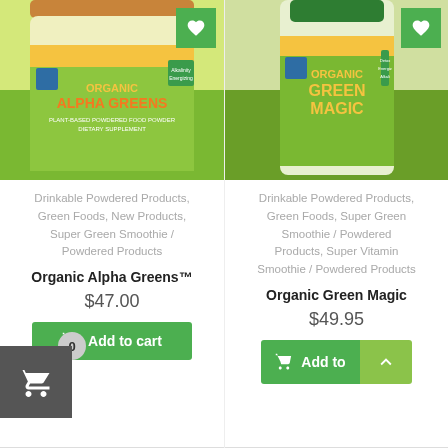[Figure (photo): Jar of Organic Alpha Greens supplement powder with green and yellow label]
Drinkable Powdered Products, Green Foods, New Products, Super Green Smoothie / Powdered Products
Organic Alpha Greens™
$47.00
Add to cart
[Figure (photo): Bottle of Organic Green Magic supplement powder with green and yellow label]
Drinkable Powdered Products, Green Foods, Super Green Smoothie / Powdered Products, Super Vitamin Smoothie / Powdered Products
Organic Green Magic
$49.95
Add to
0